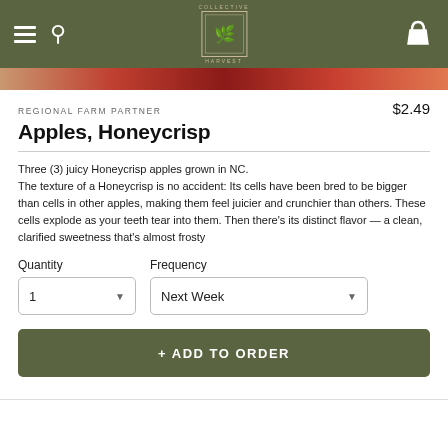Collective Harvest — navigation bar with hamburger menu, search, logo, and bag icon
REGIONAL FARM PARTNER
$2.49
Apples, Honeycrisp
Three (3) juicy Honeycrisp apples grown in NC.
The texture of a Honeycrisp is no accident: Its cells have been bred to be bigger than cells in other apples, making them feel juicier and crunchier than others. These cells explode as your teeth tear into them. Then there's its distinct flavor — a clean, clarified sweetness that's almost frosty
Quantity
1
Frequency
Next Week
+ ADD TO ORDER